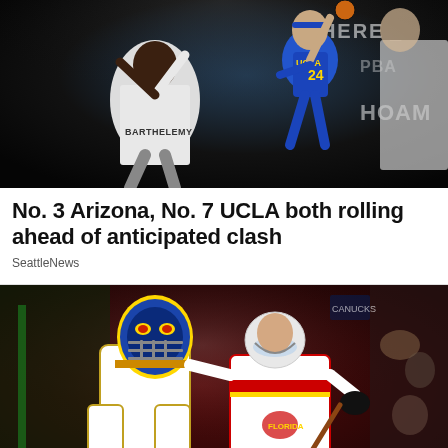[Figure (photo): Basketball action photo showing UCLA player #24 in blue uniform going up for a shot, with defender BARTHELEMY visible in white uniform, dark arena background with partial signage visible]
No. 3 Arizona, No. 7 UCLA both rolling ahead of anticipated clash
SeattleNews
[Figure (photo): Hockey photo showing Florida Panthers players celebrating, with player RICHT and LUNDELL visible wearing white jerseys, colorful goalie mask visible, arena crowd in background]